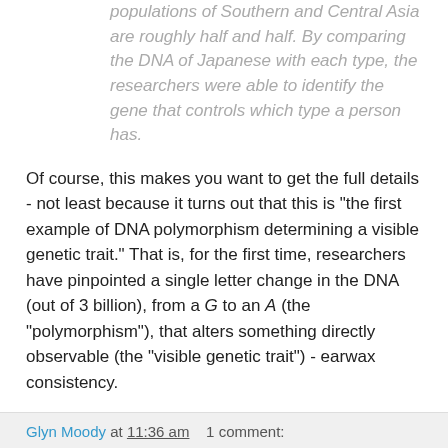populations of Southern and Central Asia are roughly half and half. By comparing the DNA of Japanese with each type, the researchers were able to identify the gene that controls which type a person has.
Of course, this makes you want to get the full details - not least because it turns out that this is "the first example of DNA polymorphism determining a visible genetic trait." That is, for the first time, researchers have pinpointed a single letter change in the DNA (out of 3 billion), from a G to an A (the "polymorphism"), that alters something directly observable (the "visible genetic trait") - earwax consistency.
You can read the abstract, but - guess what? - only subscribers get to see the all the gory/waxy details. Surely, when it comes to something as quintessentially human as earwax, we have a right to open access?
Glyn Moody at 11:36 am   1 comment: